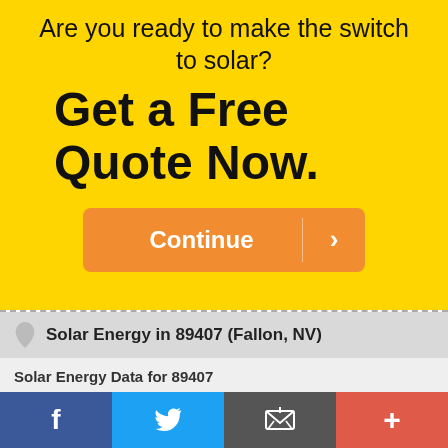Are you ready to make the switch to solar?
Get a Free Quote Now.
[Figure (other): Orange Continue button with right arrow]
Solar Energy in 89407 (Fallon, NV)
Solar Energy Data for 89407
See the chart below to see how different types of solar panel installations compare in 89407.
* Amounts listed in kWh/m2/day (kilowatt hours per square meter per day).
f  [Twitter]  [Email]  +